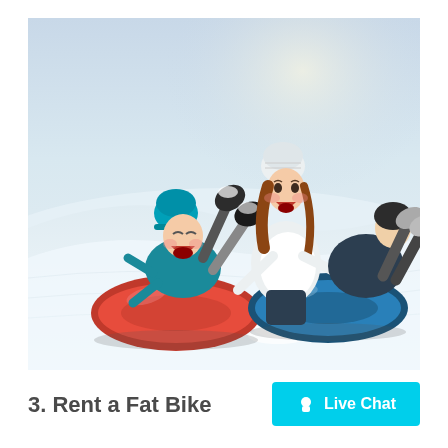[Figure (photo): People snow tubing down a snowy hill. A child in a blue hat is laughing in a red tube on the left, while a woman in a white coat and white knit hat pushes a person in a blue tube on the right.]
3. Rent a Fat Bike
Live Chat